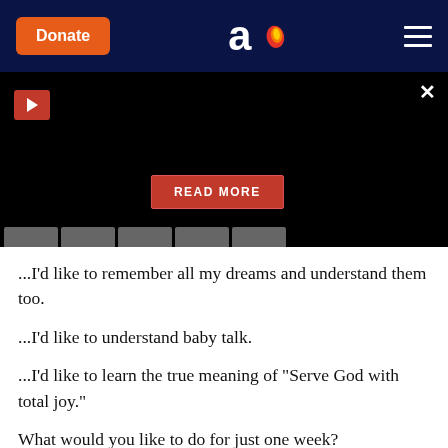Donate | [Aish logo] | [menu]
[Figure (screenshot): Black video player area with red play button in top-left, X close button in top-right, and a red READ MORE button in the center-bottom area. Five grey tabs at the bottom.]
...I'd like to remember all my dreams and understand them too.
...I'd like to understand baby talk.
...I'd like to learn the true meaning of "Serve God with total joy."
What would you like to do for just one week?